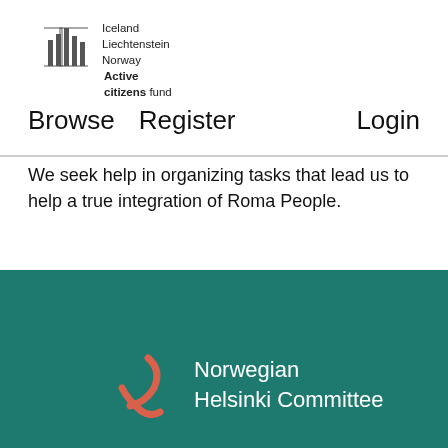[Figure (logo): Iceland Liechtenstein Norway Active citizens fund logo with building silhouette icon]
Browse   Register                                          Login
We seek help in organizing tasks that lead us to help a true integration of Roma People.
[Figure (logo): Norwegian Helsinki Committee logo — red figure icon and white text on teal background]